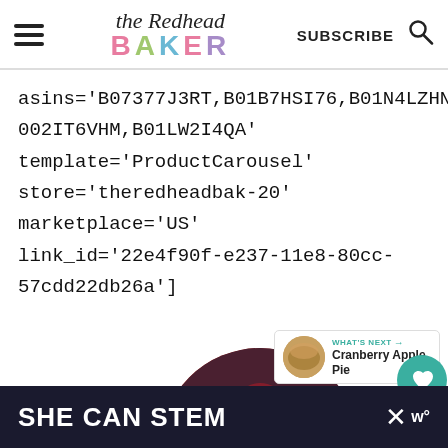[Figure (logo): The Redhead Baker logo with hamburger menu, SUBSCRIBE text, and search icon in header]
asins='B07377J3RT,B01B7HSI76,B01N4LZHNX,B002IT6VHM,B01LW2I4QA' template='ProductCarousel' store='theredheadbak-20' marketplace='US' link_id='22e4f90f-e237-11e8-80cc-57cdd22db26a']
[Figure (photo): Circular cropped photo of cranberry drink in a glass with cranberries around it]
[Figure (infographic): WHAT'S NEXT panel showing Cranberry Apple Pie with thumbnail]
[Figure (infographic): Dark advertisement bar at bottom reading SHE CAN STEM with X close button]